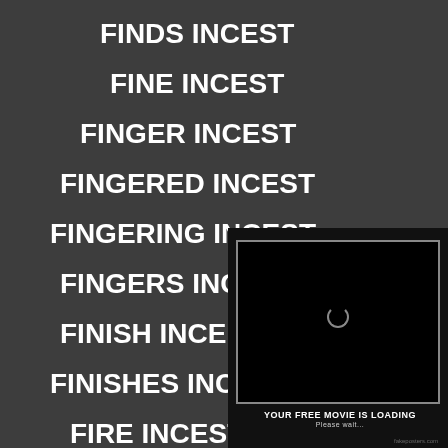FINDS INCEST
FINE INCEST
FINGER INCEST
FINGERED INCEST
FINGERING INCEST
FINGERS INCE[obscured]
FINISH INCE[obscured]
FINISHES INCI[obscured]
FIRE INCEST
[Figure (screenshot): Black box with loading spinner and text 'YOUR FREE MOVIE IS LOADING / Please wait...' with fakeposters.com watermark]